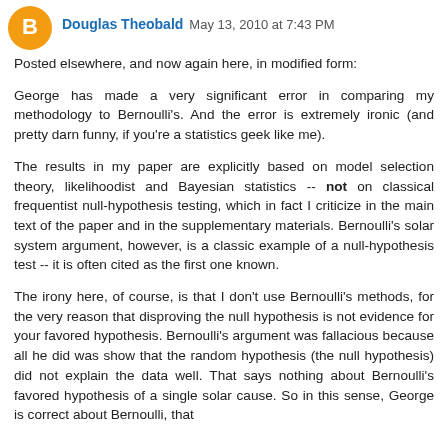Douglas Theobald May 13, 2010 at 7:43 PM
Posted elsewhere, and now again here, in modified form:
George has made a very significant error in comparing my methodology to Bernoulli's. And the error is extremely ironic (and pretty darn funny, if you're a statistics geek like me).
The results in my paper are explicitly based on model selection theory, likelihoodist and Bayesian statistics -- not on classical frequentist null-hypothesis testing, which in fact I criticize in the main text of the paper and in the supplementary materials. Bernoulli's solar system argument, however, is a classic example of a null-hypothesis test -- it is often cited as the first one known.
The irony here, of course, is that I don't use Bernoulli's methods, for the very reason that disproving the null hypothesis is not evidence for your favored hypothesis. Bernoulli's argument was fallacious because all he did was show that the random hypothesis (the null hypothesis) did not explain the data well. That says nothing about Bernoulli's favored hypothesis of a single solar cause. So in this sense, George is correct about Bernoulli, that